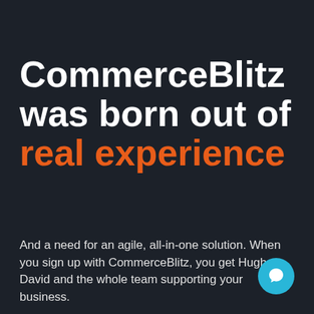CommerceBlitz was born out of real experience
And a need for an agile, all-in-one solution. When you sign up with CommerceBlitz, you get Hugh, David and the whole team supporting your business.